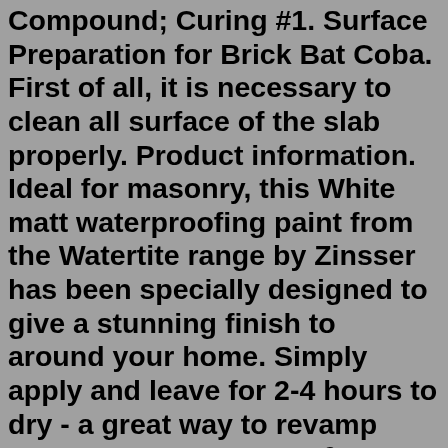Compound; Curing #1. Surface Preparation for Brick Bat Coba. First of all, it is necessary to clean all surface of the slab properly. Product information. Ideal for masonry, this White matt waterproofing paint from the Watertite range by Zinsser has been specially designed to give a stunning finish to around your home. Simply apply and leave for 2-4 hours to dry - a great way to revamp your home. Covers 2 m² per litre on average.Steps to waterproof a roof. A typical application of liquid applied roof membranes consists five main steps, which should all be treated with utmost importance, following the product manufacturer instructions. These steps are: cleaning, priming, treatment of details, main coating application, and inspection.Let it dry: Allow to dry overnight or for a minimum of 12 hours between coats. Apply a second coat: Apply another coat of sealant and allow it to dry. Paint: Now you can paint the surface any color you want. Remember, if you need to re-apply sealant in a few years, you will have to remove that paint layer. Seal Krete Milky White